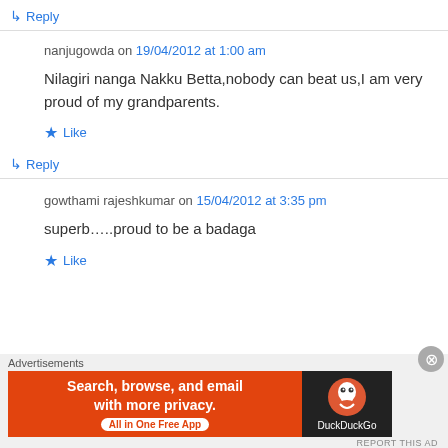↳ Reply
nanjugowda on 19/04/2012 at 1:00 am
Nilagiri nanga Nakku Betta,nobody can beat us,I am very proud of my grandparents.
★ Like
↳ Reply
gowthami rajeshkumar on 15/04/2012 at 3:35 pm
superb…..proud to be a badaga
★ Like
Advertisements
[Figure (screenshot): DuckDuckGo advertisement banner: orange background with text 'Search, browse, and email with more privacy. All in One Free App' and DuckDuckGo logo on dark right panel]